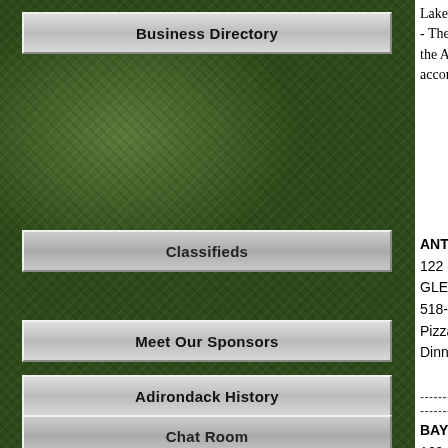[Figure (screenshot): Left navigation panel with dark green mossy/textured background containing four navigation buttons: Business Directory, Classifieds, Meet Our Sponsors, Adirondack History, Chat Room]
Lake George - Saratoga reg... - The Log Jam Restaurant ta... the Adirondacks and in prov... accommodating hospitality
ANTONIO'S PIZZA
122 BAY ST
GLENS FALLS, NY 12801
518-745-1111
Pizza, Calzones, Homemade... Dinner. Open YR.
-----------------------------------------------
-------
BAY STREET CAFE
169 BAY STREET
GLENS FALLS, NY 12801
518-792-3812
Homemade Sandwiches...